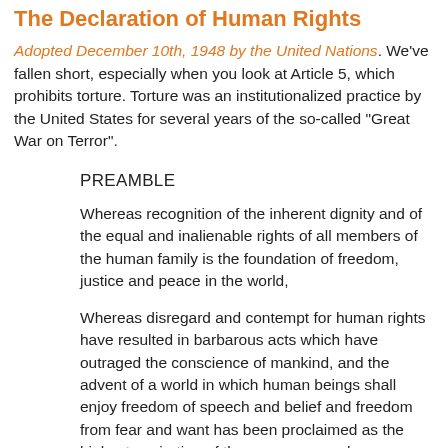The Declaration of Human Rights
Adopted December 10th, 1948 by the United Nations. We've fallen short, especially when you look at Article 5, which prohibits torture. Torture was an institutionalized practice by the United States for several years of the so-called "Great War on Terror".
PREAMBLE
Whereas recognition of the inherent dignity and of the equal and inalienable rights of all members of the human family is the foundation of freedom, justice and peace in the world,
Whereas disregard and contempt for human rights have resulted in barbarous acts which have outraged the conscience of mankind, and the advent of a world in which human beings shall enjoy freedom of speech and belief and freedom from fear and want has been proclaimed as the highest aspiration of the common people,